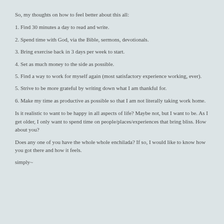So, my thoughts on how to feel better about this all:
1. Find 30 minutes a day to read and write.
2. Spend time with God, via the Bible, sermons, devotionals.
3. Bring exercise back in 3 days per week to start.
4. Set as much money to the side as possible.
5. Find a way to work for myself again (most satisfactory experience working, ever).
5. Strive to be more grateful by writing down what I am thankful for.
6. Make my time as productive as possible so that I am not literally taking work home.
Is it realistic to want to be happy in all aspects of life? Maybe not, but I want to be. As I get older, I only want to spend time on people/places/experiences that bring bliss. How about you?
Does any one of you have the whole whole enchilada? If so, I would like to know how you got there and how it feels.
simply~